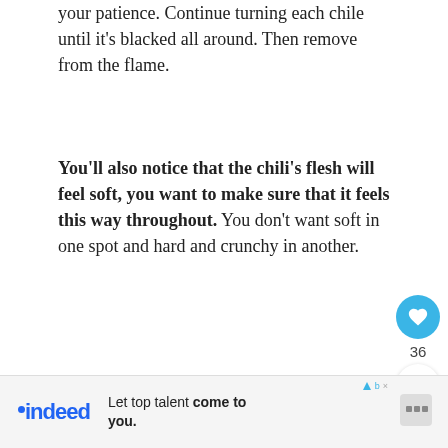your patience. Continue turning each chile until it's blacked all around. Then remove from the flame.
You'll also notice that the chili's flesh will feel soft, you want to make sure that it feels this way throughout. You don't want soft in one spot and hard and crunchy in another.
Continue fire roasting the poblanos until all have been roasted.
[Figure (photo): Two side-by-side photos of fire-roasted poblano chiles on baking trays, blackened and charred. Right photo has a 'WHAT'S NEXT' overlay with a thumbnail and title 'Vegetarian Chiles En...']
[Figure (other): Indeed advertisement banner: 'Let top talent come to you.' with Indeed logo]